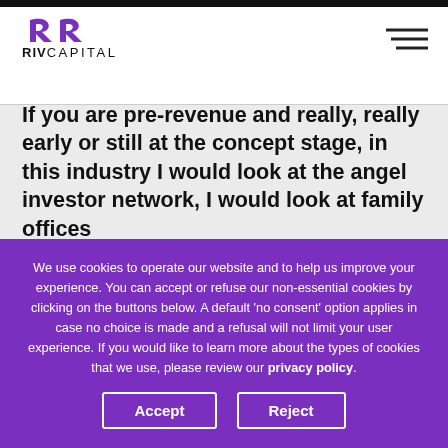[Figure (logo): RIV Capital logo with purple stylized R and R icon above the text 'RIVCAPITAL']
If you are pre-revenue and really, really early or still at the concept stage, in this industry I would look at the angel investor network, I would look at family offices
We use cookies to operate our website and to help us improve your experience. You can accept or refuse our non-essential cookies by clicking on the buttons below. A default 'no consent' option applies in case no choice is made and a refusal will not limit your user experience. If you would like to learn more about the types of cookies that we use, please review our privacy policy.
Accept
Reject